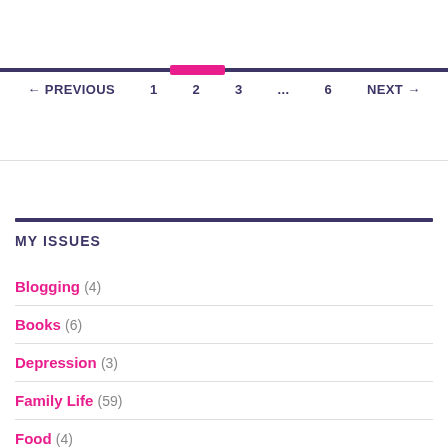← PREVIOUS  1  2  3  ...  6  NEXT →
MY ISSUES
Blogging (4)
Books (6)
Depression (3)
Family Life (59)
Food (4)